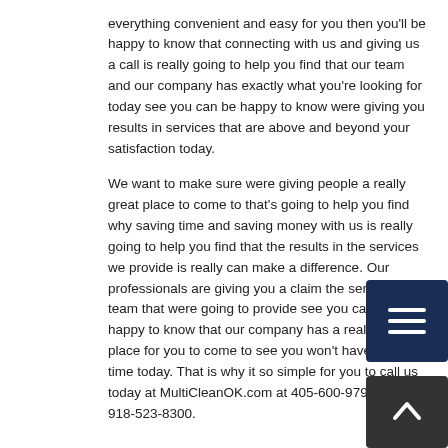If you're looking for a team for a company that makes everything convenient and easy for you then you'll be happy to know that connecting with us and giving us a call is really going to help you find that our team and our company has exactly what you're looking for today see you can be happy to know were giving you results in services that are above and beyond your satisfaction today.
We want to make sure were giving people a really great place to come to that's going to help you find why saving time and saving money with us is really going to help you find that the results in the services we provide is really can make a difference. Our professionals are giving you a claim the service in a team that were going to provide see you can be happy to know that our company has a really great place for you to come to see you won't have to waste time today. That is why it so simple for you to call us today at MultiCleanOK.com at 405-600-9790 and 918-523-8300.